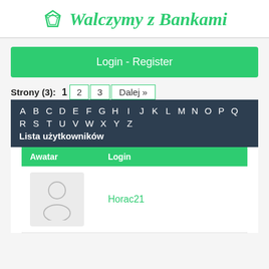♦ Walczymy z Bankami
Login - Register
Strony (3): 1  2  3  Dalej »
A B C D E F G H I J K L M N O P Q R S T U V W X Y Z Lista użytkowników
| Awatar | Login |
| --- | --- |
| [avatar] | Horac21 |
Horac21